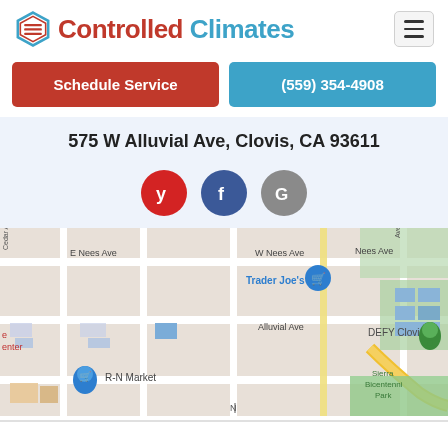[Figure (logo): Controlled Climates logo with hexagon icon and company name in red and blue]
Schedule Service
(559) 354-4908
575 W Alluvial Ave, Clovis, CA 93611
[Figure (infographic): Social media icons: Yelp (red), Facebook (dark blue), Google (grey)]
[Figure (map): Google Map showing area around 575 W Alluvial Ave, Clovis CA 93611, with landmarks including Trader Joe's, DEFY Clovis, R-N Market, and Sierra Bicentennial Park]